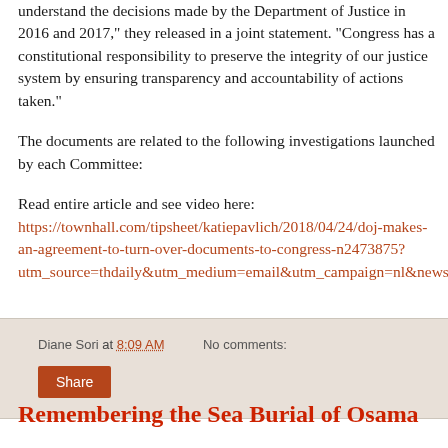understand the decisions made by the Department of Justice in 2016 and 2017," they released in a joint statement. "Congress has a constitutional responsibility to preserve the integrity of our justice system by ensuring transparency and accountability of actions taken."
The documents are related to the following investigations launched by each Committee:
Read entire article and see video here: https://townhall.com/tipsheet/katiepavlich/2018/04/24/doj-makes-an-agreement-to-turn-over-documents-to-congress-n2473875?utm_source=thdaily&utm_medium=email&utm_campaign=nl&newsletterad=
Diane Sori at 8:09 AM   No comments:
Share
Remembering the Sea Burial of Osama